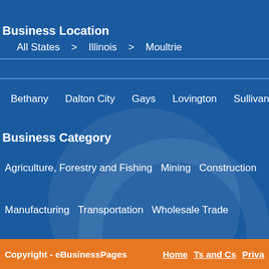Business Location
All States > Illinois > Moultrie
Bethany
Dalton City
Gays
Lovington
Sullivan
Business Category
Agriculture, Forestry and Fishing
Mining
Construction
Manufacturing
Transportation
Wholesale Trade
Retail Trade
Finance, Insurance and Real Estate
Services
Copyright - eBusinessPages   Home   Ts and Cs   Priva...